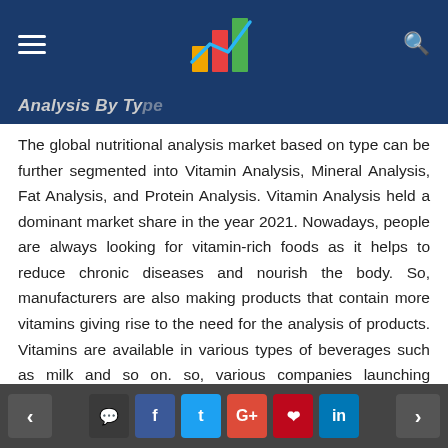Analysis By Type
The global nutritional analysis market based on type can be further segmented into Vitamin Analysis, Mineral Analysis, Fat Analysis, and Protein Analysis. Vitamin Analysis held a dominant market share in the year 2021. Nowadays, people are always looking for vitamin-rich foods as it helps to reduce chronic diseases and nourish the body. So, manufacturers are also making products that contain more vitamins giving rise to the need for the analysis of products. Vitamins are available in various types of beverages such as milk and so on. so, various companies launching innovative products that are rich in vitamins. Now, various governments are taking initiatives in order to test
< comment f t G+ p in >